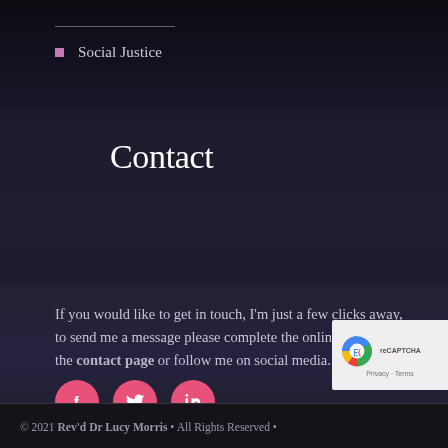Social Justice
Contact
If you would like to get in touch, I'm just a few clicks away, to send me a message please complete the online form on the contact page or follow me on social media.
[Figure (infographic): Three pink circular social media icons: Facebook (f), Twitter (bird), LinkedIn (in)]
© 2021 Rev'd Dr Lucy Morris  •  All Rights Reserved  •